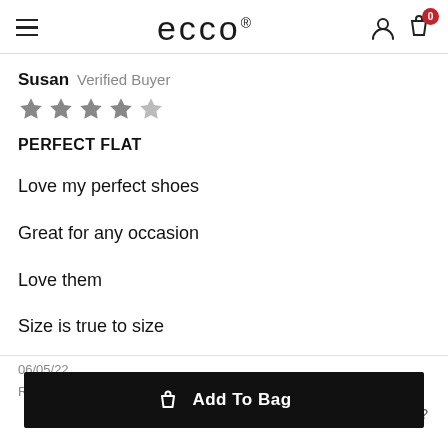ecco® — hamburger menu, user icon, bag icon with badge 0
Susan  Verified Buyer
[Figure (other): 5 gray star rating icons]
PERFECT FLAT
Love my perfect shoes
Great for any occasion
Love them
Size is true to size
06/05/22
Reviewed on:  ECCO ANINE WOMEN'S BALLERINA SHOES
Was This Review Helpful?
Add To Bag